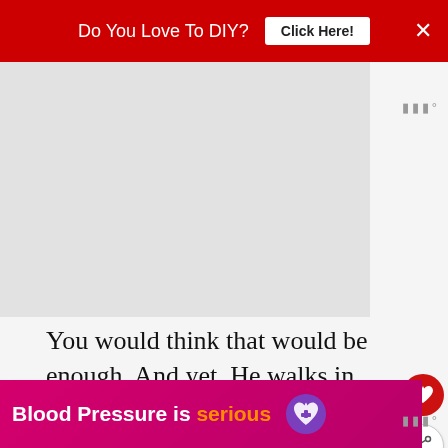Do You Love To DIY?  Click Here!  ×
[Figure (other): Advertisement image placeholder (gray box)]
You would think that would be enough. And yet. He walks in and out all morning long without even a nod in their direction.
[Figure (other): WHAT'S NEXT → The Great Pillow War — small thumbnail with pillow image]
When questioned about his noncompliance, I get the usual list of e...
[Figure (other): Bottom advertisement banner: Blood Pressure is serious with purple heart logo]